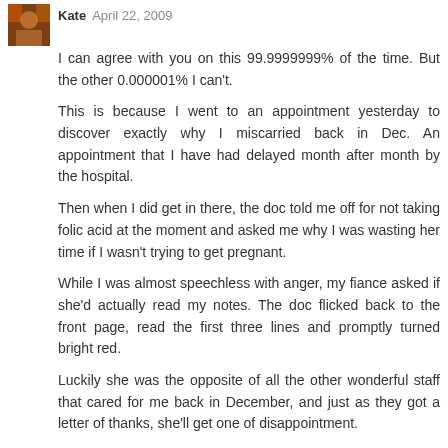Kate April 22, 2009
I can agree with you on this 99.9999999% of the time. But the other 0.000001% I can't.
This is because I went to an appointment yesterday to discover exactly why I miscarried back in Dec. An appointment that I have had delayed month after month by the hospital.
Then when I did get in there, the doc told me off for not taking folic acid at the moment and asked me why I was wasting her time if I wasn't trying to get pregnant.
While I was almost speechless with anger, my fiance asked if she'd actually read my notes. The doc flicked back to the front page, read the first three lines and promptly turned bright red.
Luckily she was the opposite of all the other wonderful staff that cared for me back in December, and just as they got a letter of thanks, she'll get one of disappointment.
But as I said, she was the absolute exception.